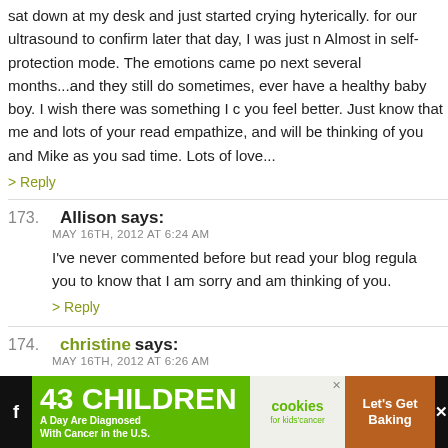sat down at my desk and just started crying hyterically. for our ultrasound to confirm later that day, I was just n Almost in self-protection mode. The emotions came po next several months...and they still do sometimes, ever have a healthy baby boy. I wish there was something I c you feel better. Just know that me and lots of your read empathize, and will be thinking of you and Mike as you sad time. Lots of love...
> Reply
173. Allison says:
MAY 16TH, 2012 AT 6:24 AM
I've never commented before but read your blog regula you to know that I am sorry and am thinking of you.
> Reply
174. christine says:
MAY 16TH, 2012 AT 6:26 AM
[Figure (infographic): Advertisement banner: green section '43 CHILDREN A Day Are Diagnosed With Cancer in the U.S.', cookies for kids cancer logo, 'Let's Get Baking' on brown background, social media icons on dark background]